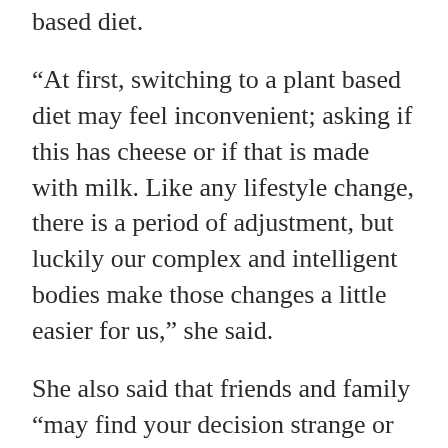based diet.
“At first, switching to a plant based diet may feel inconvenient; asking if this has cheese or if that is made with milk. Like any lifestyle change, there is a period of adjustment, but luckily our complex and intelligent bodies make those changes a little easier for us,” she said.
She also said that friends and family “may find your decision strange or difficult to comprehend, but often those initial feelings of apprehension dissipate once your healthy choices become the new